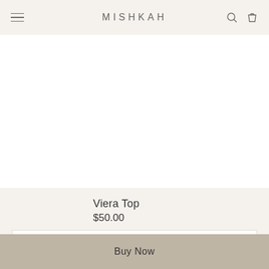MISHKAH
[Figure (photo): White product image area for Viera Top clothing item]
Viera Top
$50.00
8
Buy Now